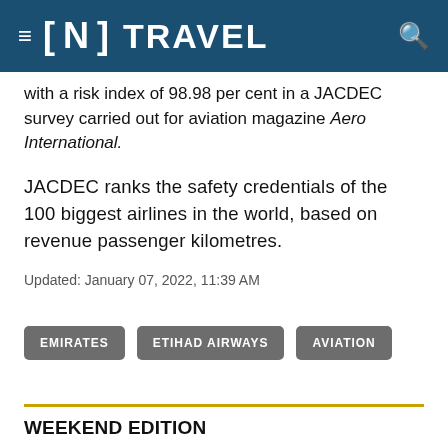[N] TRAVEL
with a risk index of 98.98 per cent in a JACDEC survey carried out for aviation magazine Aero International.
JACDEC ranks the safety credentials of the 100 biggest airlines in the world, based on revenue passenger kilometres.
Updated: January 07, 2022, 11:39 AM
EMIRATES
ETIHAD AIRWAYS
AVIATION
WEEKEND EDITION